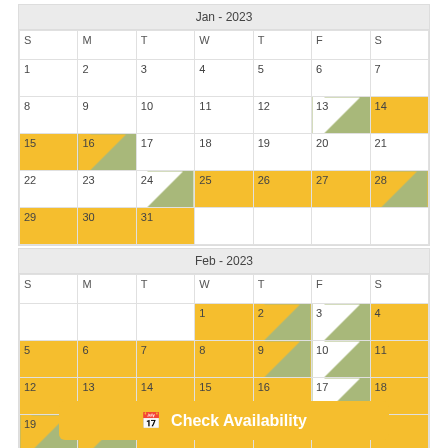| S | M | T | W | T | F | S |
| --- | --- | --- | --- | --- | --- | --- |
| 1 | 2 | 3 | 4 | 5 | 6 | 7 |
| 8 | 9 | 10 | 11 | 12 | 13 | 14 |
| 15 | 16 | 17 | 18 | 19 | 20 | 21 |
| 22 | 23 | 24 | 25 | 26 | 27 | 28 |
| 29 | 30 | 31 |  |  |  |  |
| S | M | T | W | T | F | S |
| --- | --- | --- | --- | --- | --- | --- |
|  |  |  | 1 | 2 | 3 | 4 |
| 5 | 6 | 7 | 8 | 9 | 10 | 11 |
| 12 | 13 | 14 | 15 | 16 | 17 | 18 |
| 19 | 20 | 21 | 22 | 23 | 24 | 25 |
Check Availability